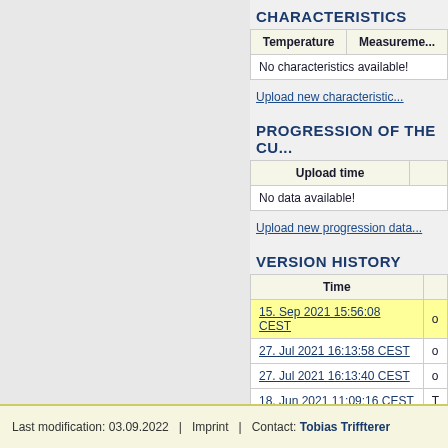CHARACTERISTICS
| Temperature | Measurement |
| --- | --- |
| No characteristics available! |  |
Upload new characteristic...
PROGRESSION OF THE CU...
| Upload time |  |
| --- | --- |
| No data available! |  |
Upload new progression data...
VERSION HISTORY
| Time |  |
| --- | --- |
| 15. Sep 2021 15:56:08 CEST | o |
| 27. Jul 2021 16:13:58 CEST | o |
| 27. Jul 2021 16:13:40 CEST | o |
| 18. Jun 2021 11:09:16 CEST | T |
Last modification: 03.09.2022  |  Imprint  |  Contact: Tobias Triffterer